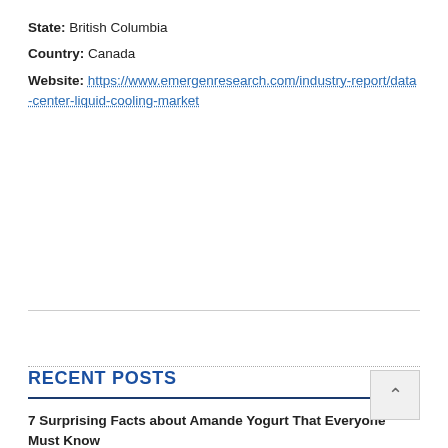State: British Columbia
Country: Canada
Website: https://www.emergenresearch.com/industry-report/data-center-liquid-cooling-market
RECENT POSTS
7 Surprising Facts about Amande Yogurt That Everyone Must Know